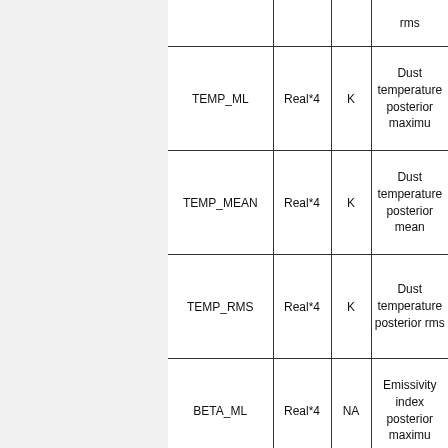| Name | Type | Units | Description |
| --- | --- | --- | --- |
|  |  |  | rms |
| TEMP_ML | Real*4 | K | Dust temperature posterior maximum |
| TEMP_MEAN | Real*4 | K | Dust temperature posterior mean |
| TEMP_RMS | Real*4 | K | Dust temperature posterior rms |
| BETA_ML | Real*4 | NA | Emissivity index posterior maximum |
|  |  |  |  |